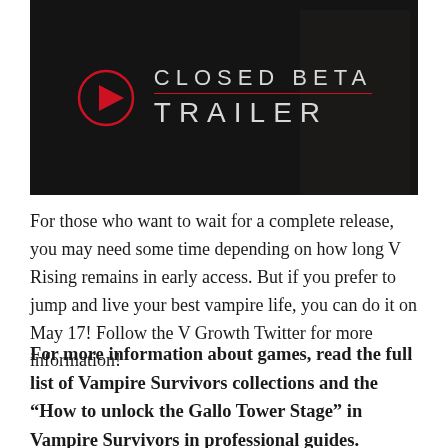[Figure (screenshot): Video thumbnail showing 'Closed Beta Trailer' text with a red play button circle on a dark background with a fantasy character]
For those who want to wait for a complete release, you may need some time depending on how long V Rising remains in early access. But if you prefer to jump and live your best vampire life, you can do it on May 17! Follow the V Growth Twitter for more information!
For more information about games, read the full list of Vampire Survivors collections and the “How to unlock the Gallo Tower Stage” in Vampire Survivors in professional guides.